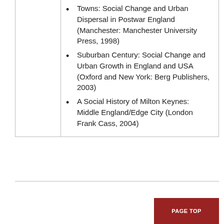Towns: Social Change and Urban Dispersal in Postwar England (Manchester: Manchester University Press, 1998)
Suburban Century: Social Change and Urban Growth in England and USA (Oxford and New York: Berg Publishers, 2003)
A Social History of Milton Keynes: Middle England/Edge City (London Frank Cass, 2004)
PAGE TOP